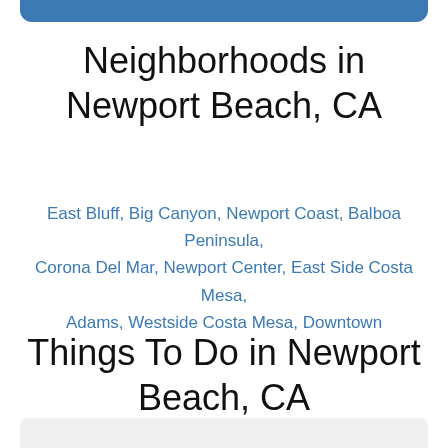[Figure (other): Blue rounded header bar at top of page]
Neighborhoods in Newport Beach, CA
East Bluff, Big Canyon, Newport Coast, Balboa Peninsula, Corona Del Mar, Newport Center, East Side Costa Mesa, Adams, Westside Costa Mesa, Downtown
Things To Do in Newport Beach, CA